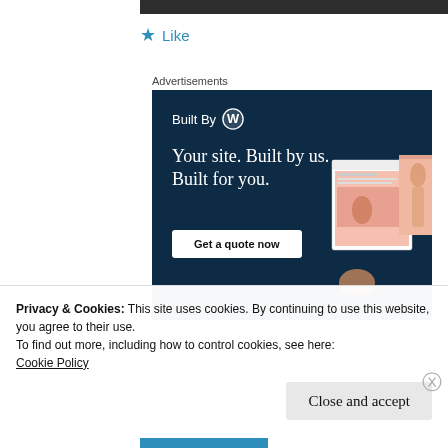[Figure (screenshot): Top dark navigation bar banner]
★ Like
Advertisements
[Figure (screenshot): WordPress advertisement: Built By WordPress logo, tagline 'Your site. Built by us. Built for you.' with a 'Get a quote now' button and a website preview mockup on a dark navy background.]
Privacy & Cookies: This site uses cookies. By continuing to use this website, you agree to their use.
To find out more, including how to control cookies, see here:
Cookie Policy
Close and accept